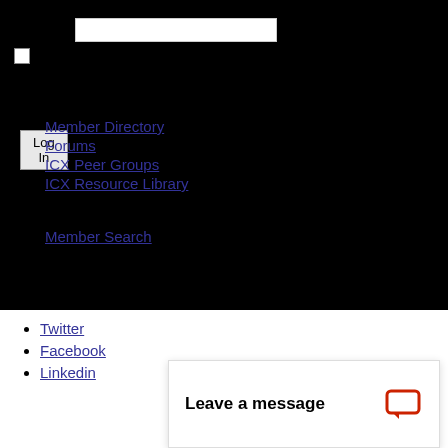[Figure (screenshot): White input text field on black background]
[Figure (screenshot): Checkbox on black background]
[Figure (screenshot): Log In button]
Member Directory
Forums
ICX Peer Groups
ICX Resource Library
Member Search
Twitter
Facebook
Linkedin
Leave a message